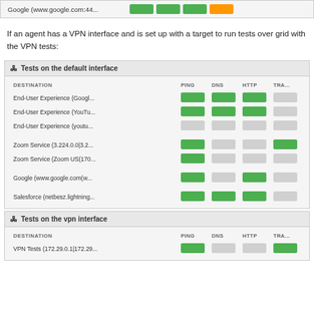[Figure (screenshot): Top panel showing Google (www.google.com:44...) row with green, green, green, orange status boxes]
If an agent has a VPN interface and is set up with a target to run tests over grid with the VPN tests:
[Figure (screenshot): Tests on the default interface panel with destination rows and PING/DNS/HTTP/TRA... status columns]
[Figure (screenshot): Tests on the vpn interface panel with VPN Tests (172.29.0.1|172.29...) row]